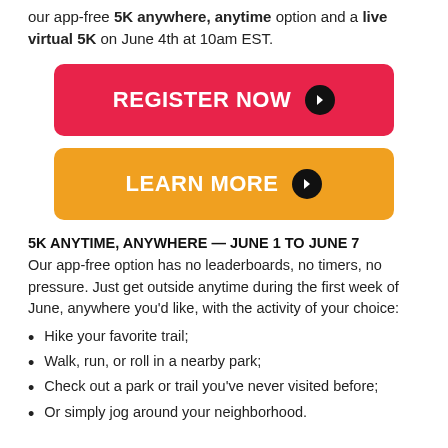our app-free 5K anywhere, anytime option and a live virtual 5K on June 4th at 10am EST.
[Figure (other): Red button labeled REGISTER NOW with arrow icon]
[Figure (other): Orange button labeled LEARN MORE with arrow icon]
5K ANYTIME, ANYWHERE — JUNE 1 TO JUNE 7
Our app-free option has no leaderboards, no timers, no pressure. Just get outside anytime during the first week of June, anywhere you'd like, with the activity of your choice:
Hike your favorite trail;
Walk, run, or roll in a nearby park;
Check out a park or trail you've never visited before;
Or simply jog around your neighborhood.